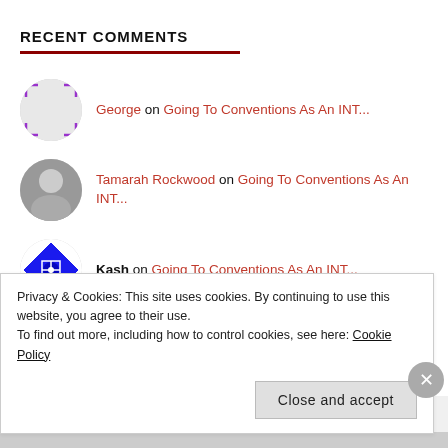RECENT COMMENTS
George on Going To Conventions As An INT...
Tamarah Rockwood on Going To Conventions As An INT...
Kash on Going To Conventions As An INT...
Tamarah Rockwood on I Have Moved...But Not Too...
Privacy & Cookies: This site uses cookies. By continuing to use this website, you agree to their use.
To find out more, including how to control cookies, see here: Cookie Policy
Close and accept